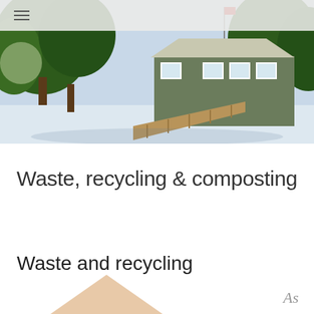[Figure (photo): Exterior photo of a green building with a wooden ramp/walkway, trees, and a snowy ground; taken in winter. A navigation/menu bar with hamburger icon overlays the top of the photo.]
Waste, recycling & composting
Waste and recycling
[Figure (illustration): Partial beige/tan triangle or house shape visible at the bottom center of the page]
As